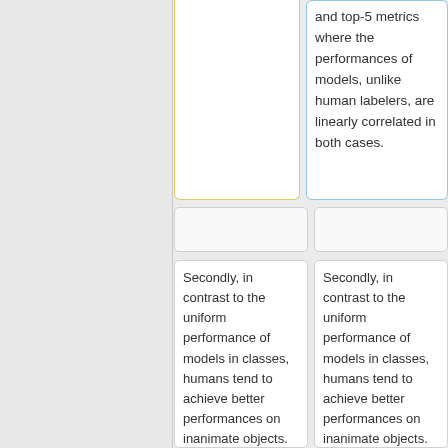and top-5 metrics where the performances of models, unlike human labelers, are linearly correlated in both cases.
Secondly, in contrast to the uniform performance of models in classes, humans tend to achieve better performances on inanimate objects. Human labelers achieve the best performance...
Secondly, in contrast to the uniform performance of models in classes, humans tend to achieve better performances on inanimate objects. Human labelers achieve the best performance...